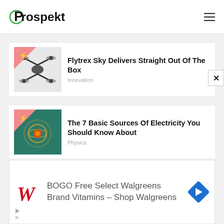Prospekt
[Figure (screenshot): Article thumbnail: drone quadcopter image with pink badge overlay]
Flytrex Sky Delivers Straight Out Of The Box
Innovation
[Figure (screenshot): Article thumbnail: electricity/lightning swirl image with pink badge overlay]
The 7 Basic Sources Of Electricity You Should Know About
Physics
[Figure (screenshot): Article thumbnail: partial image with pink badge overlay]
Israeli Firm Introduces New
[Figure (infographic): Advertisement banner: BOGO Free Select Walgreens Brand Vitamins - Shop Walgreens, with Walgreens logo and blue diamond arrow icon]